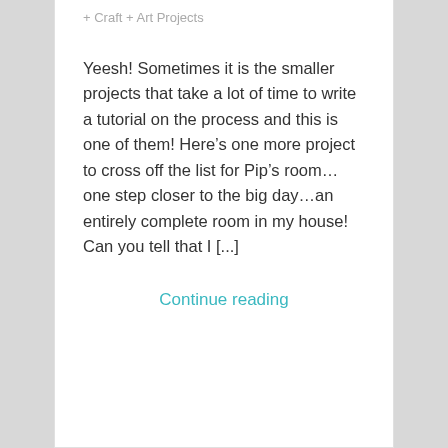+ Craft + Art Projects
Yeesh! Sometimes it is the smaller projects that take a lot of time to write a tutorial on the process and this is one of them! Here’s one more project to cross off the list for Pip’s room…one step closer to the big day…an entirely complete room in my house! Can you tell that I [...]
Continue reading